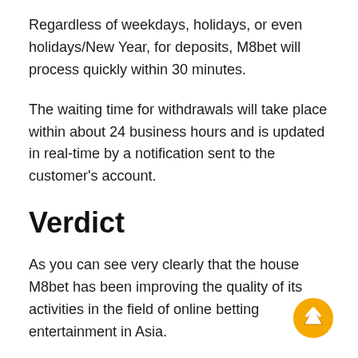Regardless of weekdays, holidays, or even holidays/New Year, for deposits, M8bet will process quickly within 30 minutes.
The waiting time for withdrawals will take place within about 24 business hours and is updated in real-time by a notification sent to the customer's account.
Verdict
As you can see very clearly that the house M8bet has been improving the quality of its activities in the field of online betting entertainment in Asia.
In order to better meet the needs of players, M8bet is always ready to listen to your obstacles and comments to have a more objective assessment of the working style and